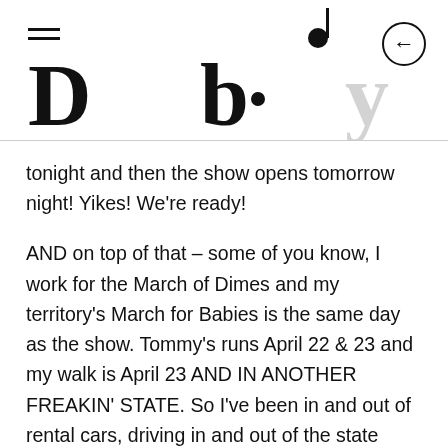D b [header with logo and navigation icons]
tonight and then the show opens tomorrow night! Yikes! We're ready!
AND on top of that – some of you know, I work for the March of Dimes and my territory's March for Babies is the same day as the show. Tommy's runs April 22 & 23 and my walk is April 23 AND IN ANOTHER FREAKIN' STATE. So I've been in and out of rental cars, driving in and out of the state every day, going to rehearsal, and in serious time crunch mode for the event too. Like I spent an hour decorating rubber ducks and